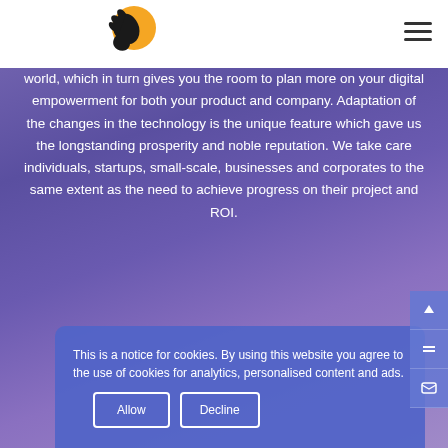[Figure (logo): Horse head logo with orange sun/circle behind it, black silhouette on orange background]
world, which in turn gives you the room to plan more on your digital empowerment for both your product and company. Adaptation of the changes in the technology is the unique feature which gave us the longstanding prosperity and noble reputation. We take care individuals, startups, small-scale, businesses and corporates to the same extent as the need to achieve progress on their project and ROI.
This is a notice for cookies. By using this website you agree to the use of cookies for analytics, personalised content and ads.